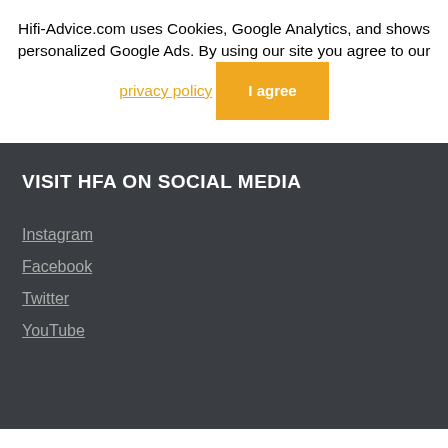Hifi-Advice.com uses Cookies, Google Analytics, and shows personalized Google Ads. By using our site you agree to our privacy policy  I agree
VISIT HFA ON SOCIAL MEDIA
Instagram
Facebook
Twitter
YouTube